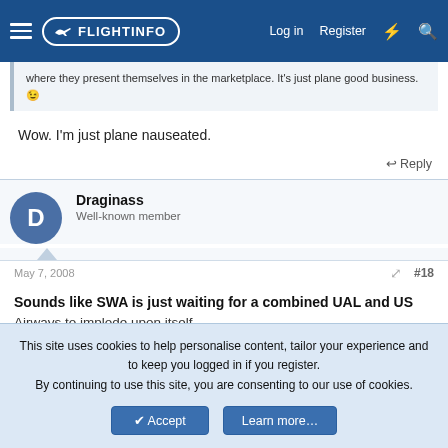FlightInfo — Log in  Register
where they present themselves in the marketplace. It's just plane good business. 😉
Wow. I'm just plane nauseated.
↩ Reply
Draginass
Well-known member
May 7, 2008   #18
Sounds like SWA is just waiting for a combined UAL and US Airways to implode upon itself.
This site uses cookies to help personalise content, tailor your experience and to keep you logged in if you register.
By continuing to use this site, you are consenting to our use of cookies.
Accept   Learn more…